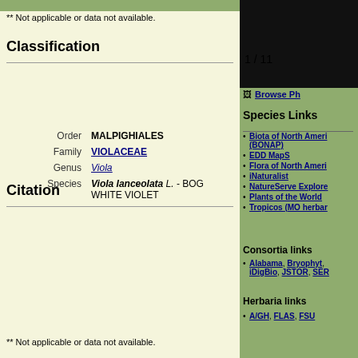** Not applicable or data not available.
Classification
|  |  |
| --- | --- |
| Order | MALPIGHIALES |
| Family | VIOLACEAE |
| Genus | Viola |
| Species | Viola lanceolata L. - BOG WHITE VIOLET |
Citation
| Citation |  |
| --- | --- |
| Citation | VIOLA LANCEOLATA Linnaeus, Sp. Pl. 934. 1753. |
| Basionym: | ** |
| Type: | CANADA: Without data, Kalm s.n. (lectotype: LINN 1052.6). Lectotypified by N. H. Russell, Amer. Midl. Naturalist 54: 484. 1955. |
** Not applicable or data not available.
1 / 11
Browse Ph
Species Links
Biota of North America (BONAP)
EDD MapS
Flora of North America
iNaturalist
NatureServe Explorer
Plants of the World
Tropicos (MO herbarium)
Consortia links
Alabama, Bryophyt, iDigBio, JSTOR, SER
Herbaria links
A/GH, FLAS, FSU